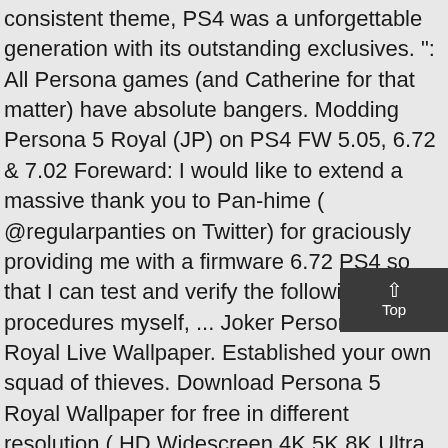consistent theme, PS4 was a unforgettable generation with its outstanding exclusives. ": All Persona games (and Catherine for that matter) have absolute bangers. Modding Persona 5 Royal (JP) on PS4 FW 5.05, 6.72 & 7.02 Foreward: I would like to extend a massive thank you to Pan-hime ( @regularpanties on Twitter) for graciously providing me with a firmware 6.72 PS4 so that I can test and verify the following procedures myself, ... Joker Persona 5 Royal Live Wallpaper. Established your own squad of thieves. Download Persona 5 Royal Wallpaper for free in different resolution ( HD Widescreen 4K 5K 8K Ultra HD ), Wallpaper support different devices like Desktop PC or Laptop, Mobile and tablet. Style is permanent. - Wallpaper Abyss. 53 trophies ( 1 1 7 44 10 ) The Phenomenal Phantom Thief . This is based on a new PS4 theme, but credit goes to ... On top of that, you can even spend extra quality time with my favorite detective prince, Akechi! I actually got a call from Ebgames and an email message. Fear not though, because Kasumi is front and center alongside Joker in this Persona 5 Royal wallpaper. Submit; Cool Stuff; English Login; Register; Fan Club Wallpaper Abyss Persona